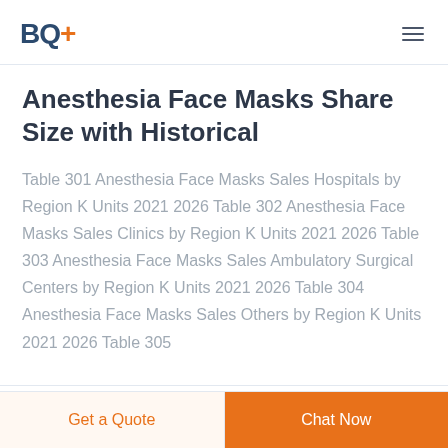BQ+
Anesthesia Face Masks Share Size with Historical
Table 301 Anesthesia Face Masks Sales Hospitals by Region K Units 2021 2026 Table 302 Anesthesia Face Masks Sales Clinics by Region K Units 2021 2026 Table 303 Anesthesia Face Masks Sales Ambulatory Surgical Centers by Region K Units 2021 2026 Table 304 Anesthesia Face Masks Sales Others by Region K Units 2021 2026 Table 305